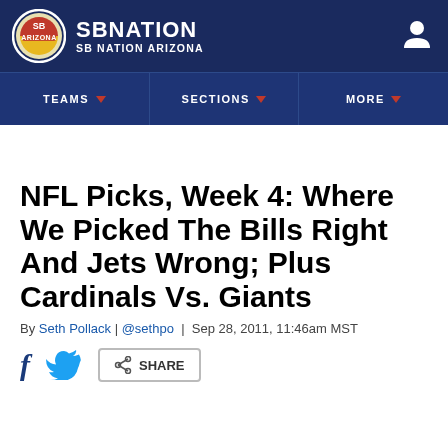SB NATION / SB NATION ARIZONA
[Figure (logo): SB Nation Arizona circular logo with red and yellow design]
[Figure (logo): User/account icon (person silhouette) in white]
TEAMS ▾   SECTIONS ▾   MORE ▾
NFL Picks, Week 4: Where We Picked The Bills Right And Jets Wrong; Plus Cardinals Vs. Giants
By Seth Pollack | @sethpo | Sep 28, 2011, 11:46am MST
f  [twitter bird]  [share icon] SHARE